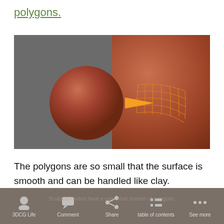polygons.
[Figure (illustration): 3D render showing a small brown clay-like sphere on the left and a large brown hemisphere on the right with an orange outline/rim and an orange grid pattern visible on its surface, connected by a yellow-orange arrow pointing from the small sphere toward the large one. The background is dark grey.]
The polygons are so small that the surface is smooth and can be handled like clay.
3DCG Life   Comment   Share   table of contents   See more